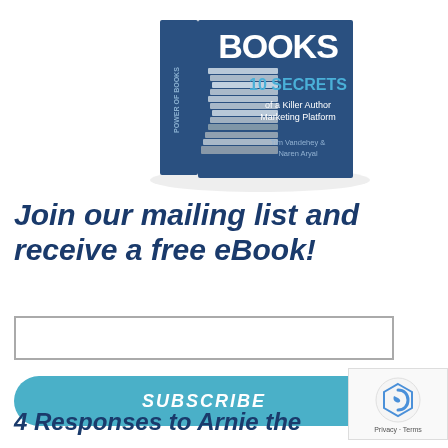[Figure (illustration): Book cover for '10 SECRETS of a Killer Author Marketing Platform' by Tim Vandehey & Naren Aryal, shown as a 3D book with stacked books image]
Join our mailing list and receive a free eBook!
4 Responses to Arnie the